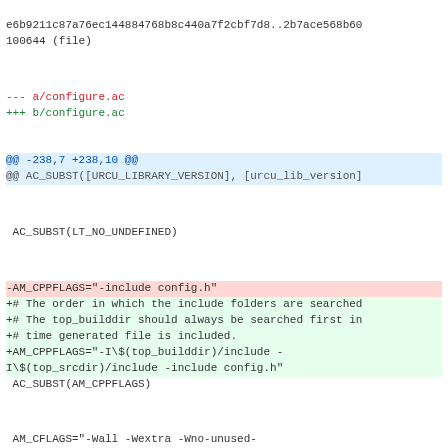e6b9211c87a76ec144884768b8c440a7f2cbf7d8..2b7ace568b60
100644 (file)
--- a/configure.ac
+++ b/configure.ac
@@ -238,7 +238,10 @@
@@ AC_SUBST([URCU_LIBRARY_VERSION], [urcu_lib_version]
AC_SUBST(LT_NO_UNDEFINED)
-AM_CPPFLAGS="-include config.h"
+# The order in which the include folders are searched
+# The top_builddir should always be searched first in
+# time generated file is included.
+AM_CPPFLAGS="-I\$(top_builddir)/include -I\$(top_srcdir)/include -include config.h"
 AC_SUBST(AM_CPPFLAGS)
AM_CFLAGS="-Wall -Wextra -Wno-unused-parameter $PTHREAD_CFLAGS"
diff --git a/src/Makefile.am b/src/Makefile.am
index
215f09c00fbd2b714bd2bb466cea2bde9ffa47dd..37fa9fe94d56
100644 (file)